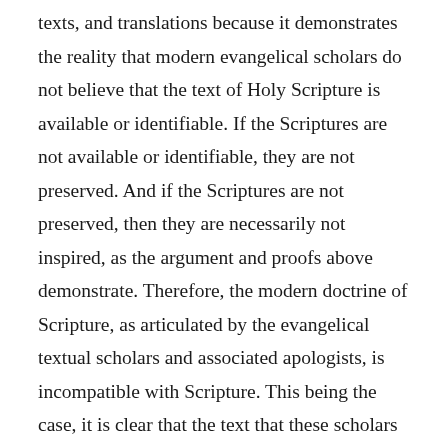texts, and translations because it demonstrates the reality that modern evangelical scholars do not believe that the text of Holy Scripture is available or identifiable. If the Scriptures are not available or identifiable, they are not preserved. And if the Scriptures are not preserved, then they are necessarily not inspired, as the argument and proofs above demonstrate. Therefore, the modern doctrine of Scripture, as articulated by the evangelical textual scholars and associated apologists, is incompatible with Scripture. This being the case, it is clear that the text that these scholars and apologists argue as “best”, is necessarily not inspired, preserved, available, or identifiable. Thus, any Christian who adheres to such a doctrine and text must a) adopt the reality that “The Bible” is not preserved or b) argue that it is preserved despite the underlying theological position that it is not